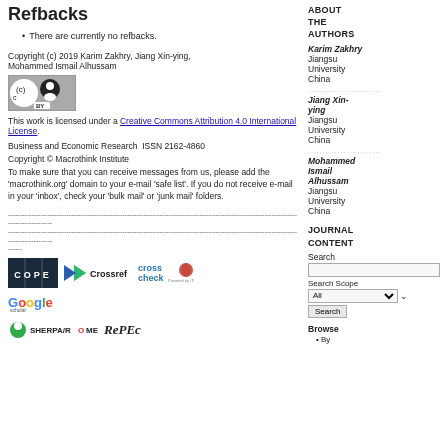Refbacks
There are currently no refbacks.
Copyright (c) 2019 Karim Zakhry, Jiang Xin-ying, Mohammed Ismail Alhussam
[Figure (logo): Creative Commons BY license logo]
This work is licensed under a Creative Commons Attribution 4.0 International License.
Business and Economic Research  ISSN 2162-4860
Copyright © Macrothink Institute
To make sure that you can receive messages from us, please add the 'macrothink.org' domain to your e-mail 'safe list'. If you do not receive e-mail in your 'inbox', check your 'bulk mail' or 'junk mail' folders.
ABOUT THE AUTHORS
Karim Zakhry
Jiangsu University
China
Jiang Xin-ying
Jiangsu University
China
Mohammed Ismail Alhussam
Jiangsu University
China
JOURNAL CONTENT
Search
Search Scope
Browse
By
[Figure (logo): COPE, Crossref, CrossCheck, Google Scholar, SHERPA/ROMEO, RePEc logos]